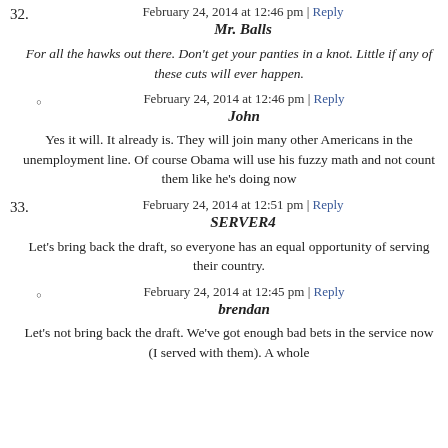February 24, 2014 at 12:46 pm | Reply
Mr. Balls
For all the hawks out there. Don't get your panties in a knot. Little if any of these cuts will ever happen.
February 24, 2014 at 12:46 pm | Reply
John
Yes it will. It already is. They will join many other Americans in the unemployment line. Of course Obama will use his fuzzy math and not count them like he's doing now
February 24, 2014 at 12:51 pm | Reply
SERVER4
Let's bring back the draft, so everyone has an equal opportunity of serving their country.
February 24, 2014 at 12:45 pm | Reply
brendan
Let's not bring back the draft. We've got enough bad bets in the service now (I served with them). A whole